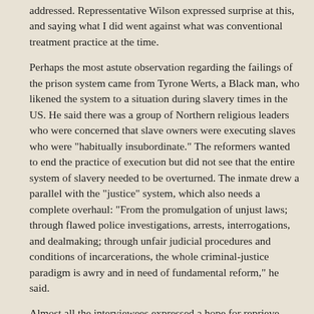addressed. Repressentative Wilson expressed surprise at this, and saying what I did went against what was conventional treatment practice at the time.
Perhaps the most astute observation regarding the failings of the prison system came from Tyrone Werts, a Black man, who likened the system to a situation during slavery times in the US. He said there was a group of Northern religious leaders who were concerned that slave owners were executing slaves who were "habitually insubordinate." The reformers wanted to end the practice of execution but did not see that the entire system of slavery needed to be overturned. The inmate drew a parallel with the "justice" system, which also needs a complete overhaul: "From the promulgation of unjust laws; through flawed police investigations, arrests, interrogations, and dealmaking; through unfair judicial procedures and conditions of incarcerations, the whole criminal-justice paradigm is awry and in need of fundamental reform," he said.
Almost all the interviewees expressed a hope for reprieve